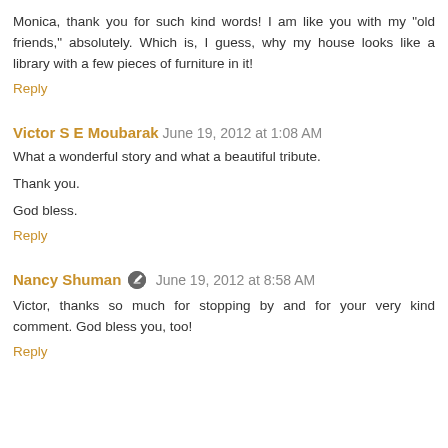Monica, thank you for such kind words! I am like you with my "old friends," absolutely. Which is, I guess, why my house looks like a library with a few pieces of furniture in it!
Reply
Victor S E Moubarak  June 19, 2012 at 1:08 AM
What a wonderful story and what a beautiful tribute.
Thank you.
God bless.
Reply
Nancy Shuman  June 19, 2012 at 8:58 AM
Victor, thanks so much for stopping by and for your very kind comment. God bless you, too!
Reply